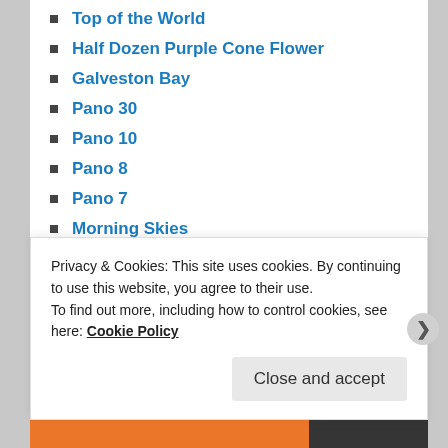Top of the World
Half Dozen Purple Cone Flower
Galveston Bay
Pano 30
Pano 10
Pano 8
Pano 7
Morning Skies
Light
Ice
ARCHIVES
August 2022 (1)
July 2022 (2)
Privacy & Cookies: This site uses cookies. By continuing to use this website, you agree to their use.
To find out more, including how to control cookies, see here: Cookie Policy
Close and accept